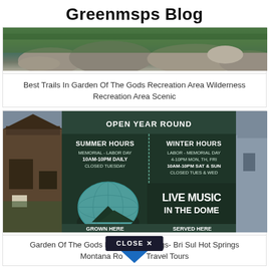Greenmsps Blog
[Figure (photo): Landscape photo showing rocky terrain with green trees and rock formations]
Best Trails In Garden Of The Gods Recreation Area Wilderness Recreation Area Scenic
[Figure (photo): Photo of a sign showing Summer Hours: Memorial - Labor Day 10AM-10PM Daily Closed Tuesday, and Winter Hours: Labor - Memorial Day 4-10PM Mon, Th, Fri / 10AM-10PM Sat & Sun / Closed Tues & Wed. Also shows Live Music In The Dome, Friday Saturday & Sunday Year Round, Grown Here Served Here. Left side shows a wooden shed building.]
Garden Of The Gods Norris Hot Springs- Bri Sul Hot Springs Montana Road Trip Travel Tours
[Figure (other): CLOSE X button overlay with blue triangle/arrow below it]